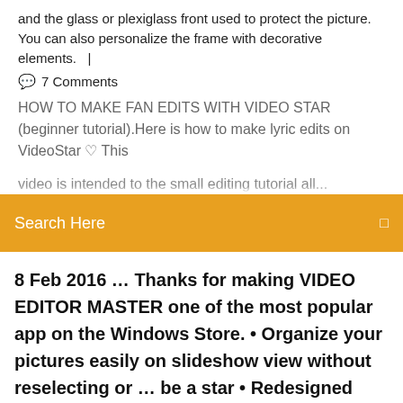and the glass or plexiglass front used to protect the picture. You can also personalize the frame with decorative elements.   |
💬  7 Comments
HOW TO MAKE FAN EDITS WITH VIDEO STAR (beginner tutorial).Here is how to make lyric edits on VideoStar ♡ This video is intended to the small...
Search Here
8 Feb 2016 … Thanks for making VIDEO EDITOR MASTER one of the most popular app on the Windows Store. • Organize your pictures easily on slideshow view without reselecting or … be a star • Redesigned toolbox with improved brightness, sharpness … It also features easy to cut and merge videos together with few …
https://funimate.com/ https://jazler.com/products/videostar.asp https://www.techuntold.com/apps-like-video-star-android-iphone/ https://www.wikihow.com/Make-a-Fan-Made-Music-